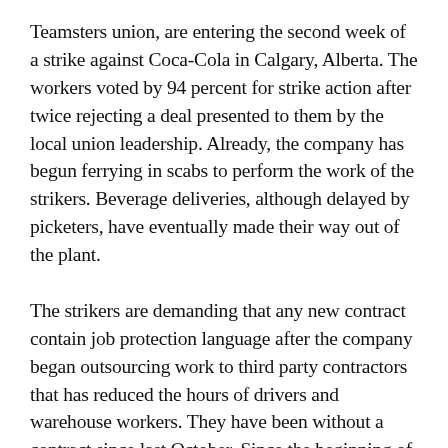Teamsters union, are entering the second week of a strike against Coca-Cola in Calgary, Alberta. The workers voted by 94 percent for strike action after twice rejecting a deal presented to them by the local union leadership. Already, the company has begun ferrying in scabs to perform the work of the strikers. Beverage deliveries, although delayed by picketers, have eventually made their way out of the plant.
The strikers are demanding that any new contract contain job protection language after the company began outsourcing work to third party contractors that has reduced the hours of drivers and warehouse workers. They have been without a contract since last October. Since the beginning of the pandemic over a year ago, workers at the Coca-Cola plant have been deemed “essential” and have laboured there even as the company was steadily reducing their take-home pay through their outsourcing schemes.